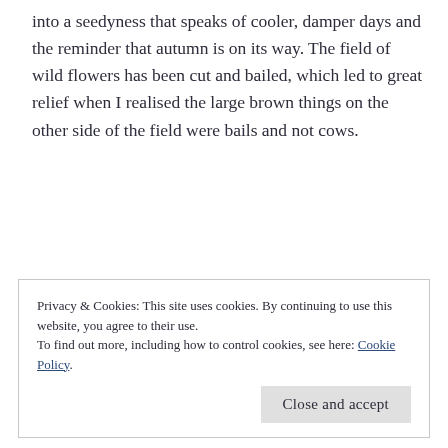into a seedyness that speaks of cooler, damper days and the reminder that autumn is on its way. The field of wild flowers has been cut and bailed, which led to great relief when I realised the large brown things on the other side of the field were bails and not cows.
Privacy & Cookies: This site uses cookies. By continuing to use this website, you agree to their use.
To find out more, including how to control cookies, see here: Cookie Policy
Close and accept